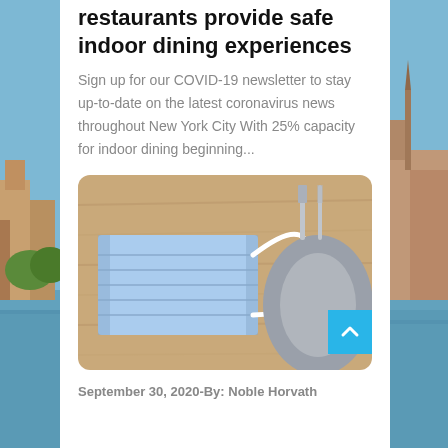restaurants provide safe indoor dining experiences
Sign up for our COVID-19 newsletter to stay up-to-date on the latest coronavirus news throughout New York City With 25% capacity for indoor dining beginning...
[Figure (photo): A blue surgical face mask lying on a wooden table next to a grey plate and silverware]
September 30, 2020-By: Noble Horvath